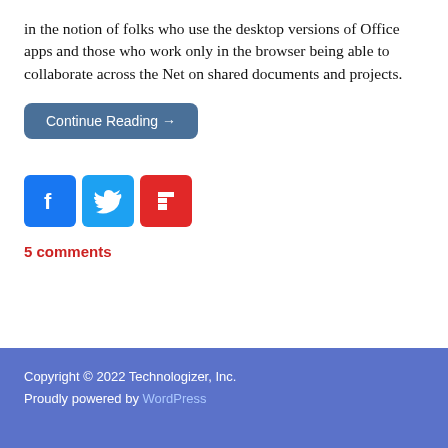in the notion of folks who use the desktop versions of Office apps and those who work only in the browser being able to collaborate across the Net on shared documents and projects.
Continue Reading →
[Figure (other): Social sharing icons: Facebook (blue), Twitter (light blue), Flipboard (red)]
5 comments
← Previous 1 … 5 6
Copyright © 2022 Technologizer, Inc.
Proudly powered by WordPress